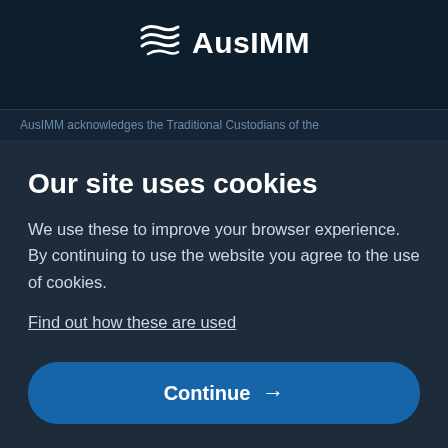[Figure (logo): AusIMM logo with stylized wave/layers icon and text 'AusIMM']
AusIMM acknowledges the Traditional Custodians of the
Our site uses cookies
We use these to improve your browser experience. By continuing to use the website you agree to the use of cookies.
Find out how these are used
Continue →